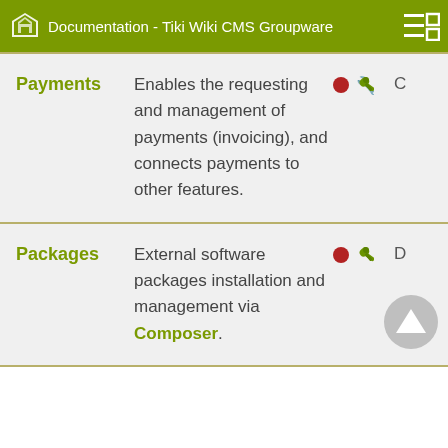Documentation - Tiki Wiki CMS Groupware
| Feature | Description | Icons | Level |
| --- | --- | --- | --- |
| Payments | Enables the requesting and management of payments (invoicing), and connects payments to other features. | ● 🔧 | C |
| Packages | External software packages installation and management via Composer. | ● 🔧 | D |